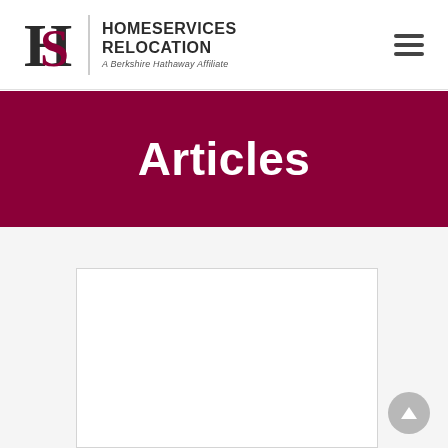HomeServices Relocation — A Berkshire Hathaway Affiliate
Articles
[Figure (other): Empty white article card placeholder with border]